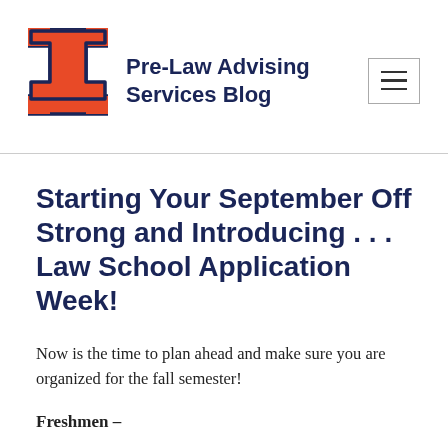Pre-Law Advising Services Blog
Starting Your September Off Strong and Introducing . . . Law School Application Week!
Now is the time to plan ahead and make sure you are organized for the fall semester!
Freshmen –